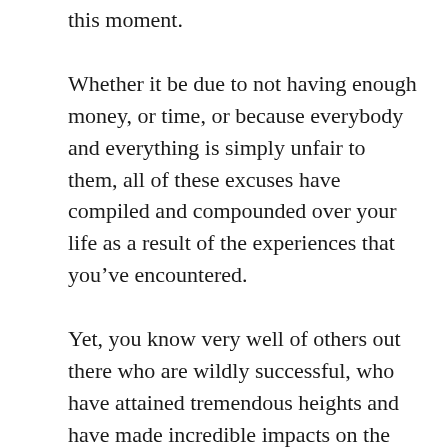this moment.
Whether it be due to not having enough money, or time, or because everybody and everything is simply unfair to them, all of these excuses have compiled and compounded over your life as a result of the experiences that you’ve encountered.
Yet, you know very well of others out there who are wildly successful, who have attained tremendous heights and have made incredible impacts on the lives of millions of others. You tell yourself, they’re lucky, they had money to start, or any and every other excuse that you can think of to make yourself feel better.